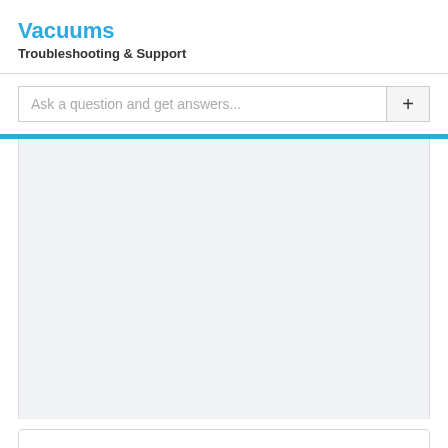Vacuums
Troubleshooting & Support
Ask a question and get answers...
Having problems with your Kirby Ultimate G Bagged